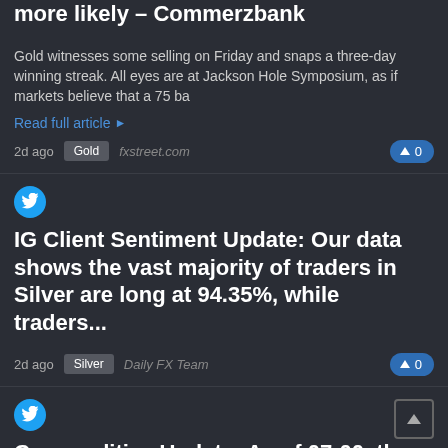more likely – Commerzbank
Gold witnesses some selling on Friday and snaps a three-day winning streak. All eyes are at Jackson Hole Symposium, as if markets believe that a 75 ba
Read full article ▶
2d ago  Gold  fxstreet.com  ▲ 0
IG Client Sentiment Update: Our data shows the vast majority of traders in Silver are long at 94.35%, while traders...
2d ago  Silver  Daily FX Team  ▲ 0
Commodities Update: As of 07:00, these are your best and worst performers based